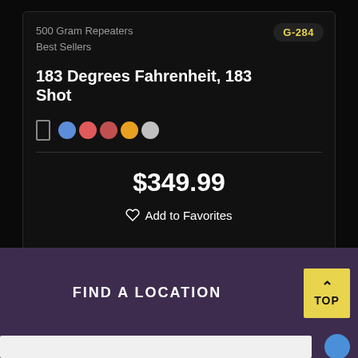500 Gram Repeaters
Best Sellers
G-284
183 Degrees Fahrenheit, 183 Shot
$349.99
Add to Favorites
FIND A LOCATION
TOP